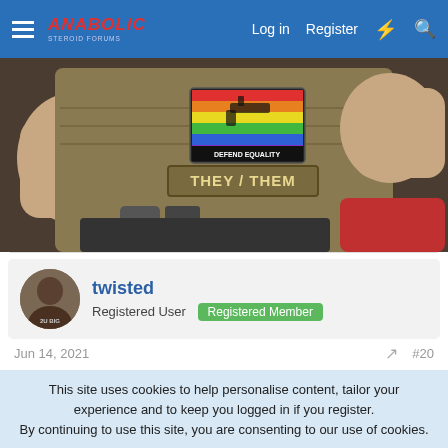Anabolic Steroid Forums — Log in  Register
[Figure (photo): Photo of a tactical vest with a rainbow 'DEFEND EQUALITY' patch and a 'THEY / THEM' patch, hands visible holding the vest.]
twisted
Registered User  Registered Member
Jun 14, 2021  #20
This site uses cookies to help personalise content, tailor your experience and to keep you logged in if you register.
By continuing to use this site, you are consenting to our use of cookies.
✓ Accept   Learn more...